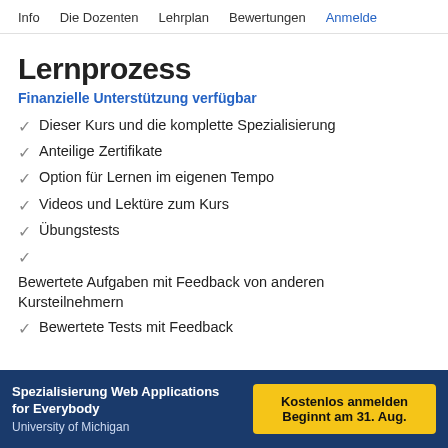Info   Die Dozenten   Lehrplan   Bewertungen   Anmelde
Lernprozess
Finanzielle Unterstützung verfügbar
Dieser Kurs und die komplette Spezialisierung
Anteilige Zertifikate
Option für Lernen im eigenen Tempo
Videos und Lektüre zum Kurs
Übungstests
Bewertete Aufgaben mit Feedback von anderen Kursteilnehmern
Bewertete Tests mit Feedback
Spezialisierung Web Applications for Everybody
University of Michigan
Kostenlos anmelden
Beginnt am 31. Aug.